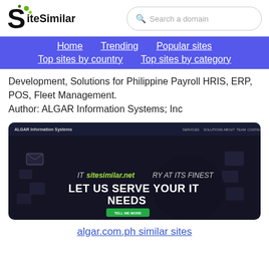SiteSimilar — Search a domain
Home
Trending
Popular sites
Top sites by country
Top sites by category
Development, Solutions for Philippine Payroll HRIS, ERP, POS, Fleet Management.
Author: ALGAR Information Systems; Inc
[Figure (screenshot): Screenshot of algar.com.ph website showing dark hero section with text 'IT sitesimilar.net RY AT ITS FINEST' and 'LET US SERVE YOUR IT NEEDS' with a green 'TELL ME MORE' button. ALGAR Information Systems logo in top left with navigation links.]
algar.com.ph similar sites